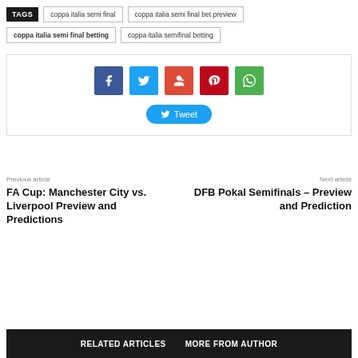TAGS  coppa italia semi final  coppa italia semi final bet preview  coppa italia semi final betting  coppa italia semifinal betting
[Figure (other): Social share buttons: Facebook, Twitter, Google+, Pinterest, WhatsApp icons and a Tweet button]
Previous article
FA Cup: Manchester City vs. Liverpool Preview and Predictions
Next article
DFB Pokal Semifinals – Preview and Prediction
RELATED ARTICLES   MORE FROM AUTHOR